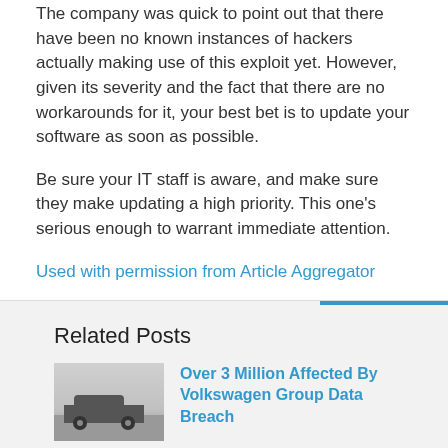The company was quick to point out that there have been no known instances of hackers actually making use of this exploit yet. However, given its severity and the fact that there are no workarounds for it, your best bet is to update your software as soon as possible.
Be sure your IT staff is aware, and make sure they make updating a high priority. This one's serious enough to warrant immediate attention.
Used with permission from Article Aggregator
Related Posts
Over 3 Million Affected By Volkswagen Group Data Breach
Facebook Adding Physical Security Key Support For